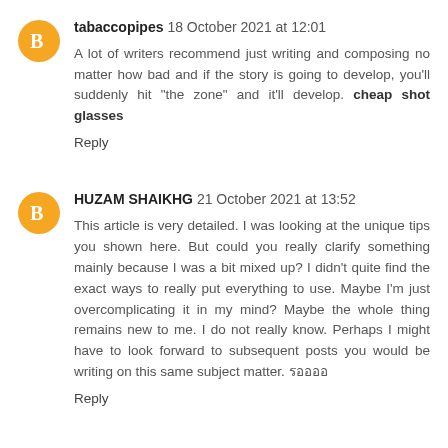tabaccopipes 18 October 2021 at 12:01
A lot of writers recommend just writing and composing no matter how bad and if the story is going to develop, you'll suddenly hit "the zone" and it'll develop. cheap shot glasses
Reply
HUZAM SHAIKHG 21 October 2021 at 13:52
This article is very detailed. I was looking at the unique tips you shown here. But could you really clarify something mainly because I was a bit mixed up? I didn't quite find the exact ways to really put everything to use. Maybe I'm just overcomplicating it in my mind? Maybe the whole thing remains new to me. I do not really know. Perhaps I might have to look forward to subsequent posts you would be writing on this same subject matter. รออออ
Reply